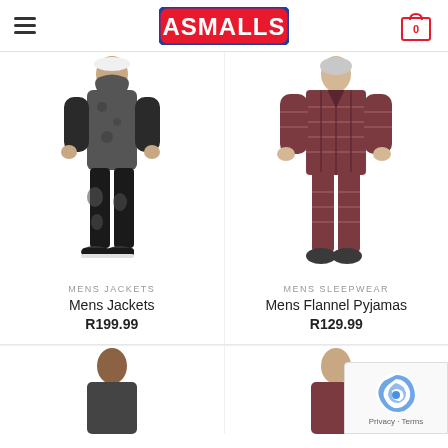ASMALLS — navigation header with hamburger menu and cart icon showing 0
[Figure (photo): Man wearing dark grey zip-up hoodie jacket and black distressed jeans with white sneakers]
[Figure (photo): Man wearing dark red/grey plaid flannel pyjamas set with dark slippers]
MENS JACKETS
Mens Jackets
R199.99
MENS SLEEPWEAR
Mens Flannel Pyjamas
R129.99
[Figure (photo): Partial view of man model at bottom left, partially cropped]
[Figure (photo): Partial view of man model at bottom right, partially cropped]